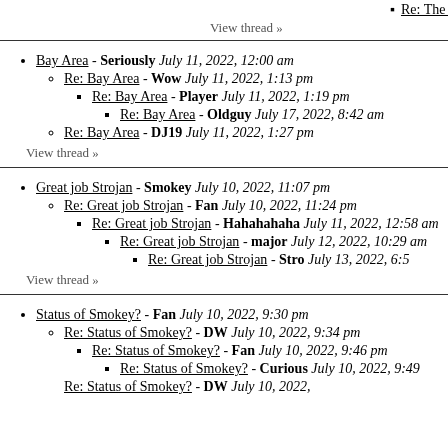Re: The Ball was perfect - Mr. [truncated] View thread »
Bay Area - Seriously July 11, 2022, 12:00 am
Re: Bay Area - Wow July 11, 2022, 1:13 pm
Re: Bay Area - Player July 11, 2022, 1:19 pm
Re: Bay Area - Oldguy July 17, 2022, 8:42 am
Re: Bay Area - DJ19 July 11, 2022, 1:27 pm
View thread »
Great job Strojan - Smokey July 10, 2022, 11:07 pm
Re: Great job Strojan - Fan July 10, 2022, 11:24 pm
Re: Great job Strojan - Hahahahaha July 11, 2022, 12:58 am
Re: Great job Strojan - major July 12, 2022, 10:29 am
Re: Great job Strojan - Stro July 13, 2022, 6:5...
View thread »
Status of Smokey? - Fan July 10, 2022, 9:30 pm
Re: Status of Smokey? - DW July 10, 2022, 9:34 pm
Re: Status of Smokey? - Fan July 10, 2022, 9:46 pm
Re: Status of Smokey? - Curious July 10, 2022, 9:49...
Re: Status of Smokey? - DW July 10, 2022, [truncated]